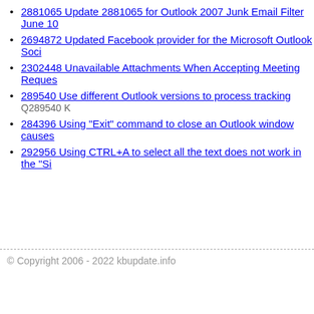2881065 Update 2881065 for Outlook 2007 Junk Email Filter June 10...
2694872 Updated Facebook provider for the Microsoft Outlook Soci...
2302448 Unavailable Attachments When Accepting Meeting Reques...
289540 Use different Outlook versions to process tracking Q289540 K...
284396 Using "Exit" command to close an Outlook window causes...
292956 Using CTRL+A to select all the text does not work in the "Si...
© Copyright 2006 - 2022 kbupdate.info